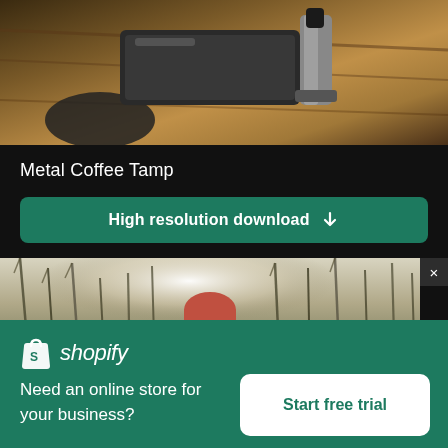[Figure (photo): Close-up photo of a metal coffee tamp and sunglasses on a wooden surface, warm tones]
Metal Coffee Tamp
High resolution download ↓
[Figure (photo): Woman with pink/red hair wearing sunglasses, photographed from below surrounded by tall grasses against a bright sky]
×
[Figure (logo): Shopify logo — white shopping bag icon and italic shopify wordmark on green background]
Need an online store for your business?
Start free trial